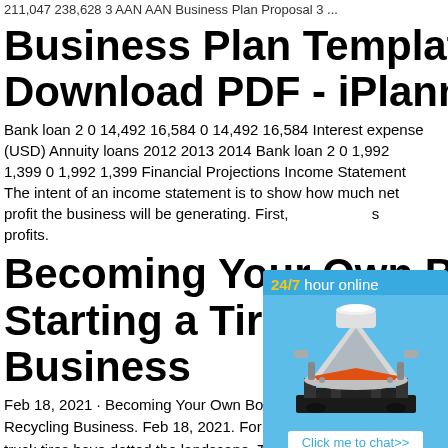211,047 238,628 3 AAN AAN Business Plan Proposal 3 ...
Business Plan Template Download PDF - iPlanner
Bank loan 2 0 14,492 16,584 0 14,492 16,584 Interest expense (USD) Annuity loans 2012 2013 2014 Bank loan 2 0 1,992 1,399 0 1,992 1,399 Financial Projections Income Statement The intent of an income statement is to show how much net profit the business will be generating. First, s profits.
Becoming Your Own Bo Starting a Tire Recyclin Business
Feb 18, 2021 · Becoming Your Own Boss: S Recycling Business. Feb 18, 2021. For dec truck tires have dotted the landscape. Toss and buried in landfills, they pose a significa hazard. In the last 50 years, the tire disposa to the forefront of environmentalists' minds.
[Figure (infographic): Advertisement widget with blue background, showing '24/7 hour online' text in yellow/white, an industrial cone crusher machine, a 'Click me to chat>>' button, 'Enquiry' text, a dashed divider, and 'limingjlmofen' username at the bottom.]